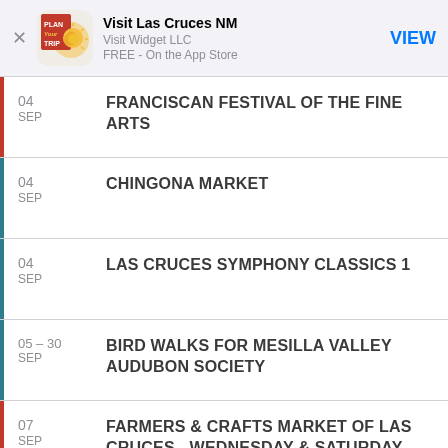[Figure (screenshot): App Store banner for 'Visit Las Cruces NM' by Visit Widget LLC, FREE on the App Store, with VIEW button]
04 SEP — FRANCISCAN FESTIVAL OF THE FINE ARTS
04 SEP — CHINGONA MARKET
04 SEP — LAS CRUCES SYMPHONY CLASSICS 1
05 – 30 SEP — BIRD WALKS FOR MESILLA VALLEY AUDUBON SOCIETY
07 SEP — FARMERS & CRAFTS MARKET OF LAS CRUCES - WEDNESDAY & SATURDAY